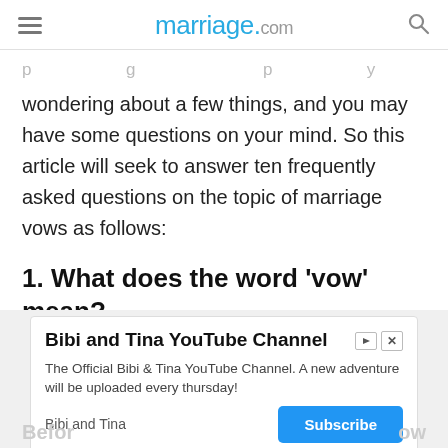marriage.com
wondering about a few things, and you may have some questions on your mind. So this article will seek to answer ten frequently asked questions on the topic of marriage vows as follows:
1. What does the word ‘vow’ mean?
Advertisement
[Figure (screenshot): Advertisement banner for Bibi and Tina YouTube Channel with subscribe button]